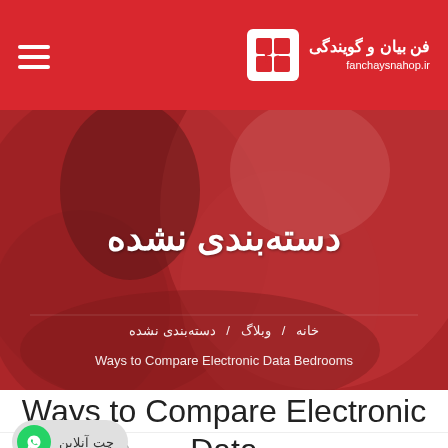فن بیان و گویندگی / fanchaysnahop.ir
دسته‌بندی نشده
خانه / وبلاگ / دسته‌بندی نشده
Ways to Compare Electronic Data Bedrooms
Ways to Compare Electronic Data Bedrooms
چت آنلاین
دسته بندی   نظرات